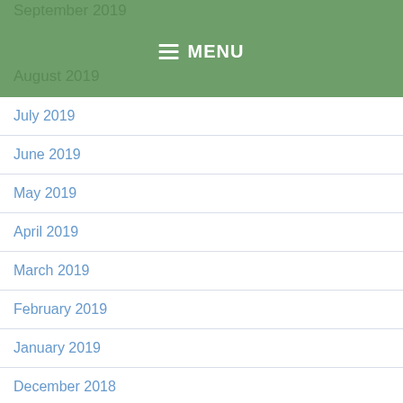September 2019
≡ MENU
August 2019
July 2019
June 2019
May 2019
April 2019
March 2019
February 2019
January 2019
December 2018
November 2018
October 2018
September 2018
June 2018